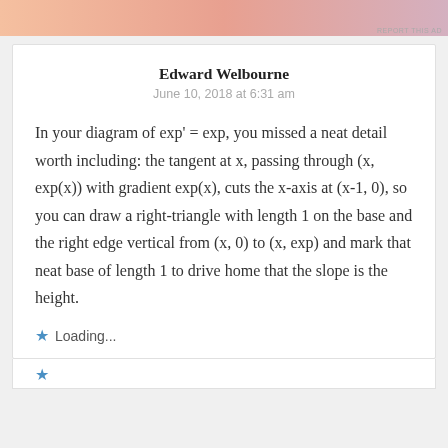[Figure (other): Advertisement banner at top of page with gradient orange/pink/purple colors and REPORT THIS AD text]
Edward Welbourne
June 10, 2018 at 6:31 am
In your diagram of exp' = exp, you missed a neat detail worth including: the tangent at x, passing through (x, exp(x)) with gradient exp(x), cuts the x-axis at (x-1, 0), so you can draw a right-triangle with length 1 on the base and the right edge vertical from (x, 0) to (x, exp) and mark that neat base of length 1 to drive home that the slope is the height.
Loading...